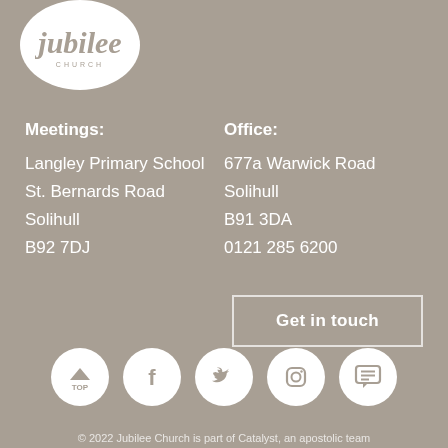[Figure (logo): Jubilee Church circular logo with script text 'jubilee' and 'CHURCH' below]
Meetings:
Langley Primary School
St. Bernards Road
Solihull
B92 7DJ
Office:
677a Warwick Road
Solihull
B91 3DA
0121 285 6200
Get in touch
[Figure (infographic): Row of 5 social/navigation icons in white circles: Top (arrow up), Facebook, Twitter, Instagram, Chat/Message]
© 2022 Jubilee Church is part of Catalyst, an apostolic team